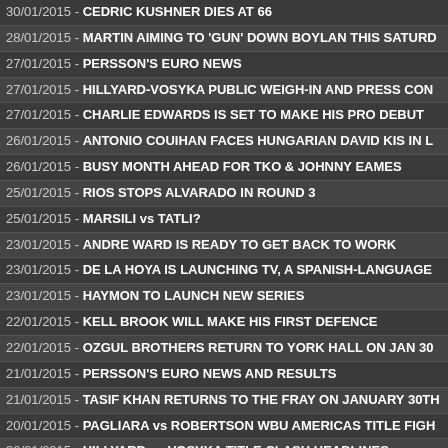30/01/2015 - CEDRIC KUSHNER DIES AT 66
28/01/2015 - MARTIN AIMING TO 'GUN' DOWN BOYLAN THIS SATURD
27/01/2015 - PERSSON'S EURO NEWS
27/01/2015 - HILLYARD-VOSYKA PUBLIC WEIGH-IN AND PRESS CON
27/01/2015 - CHARLIE EDWARDS IS SET TO MAKE HIS PRO DEBUT
26/01/2015 - ANTONIO COUIHAN FACES HUNGARIAN DAVID KIS IN L
26/01/2015 - BUSY MONTH AHEAD FOR TKO & JOHNNY EAMES
25/01/2015 - RIOS STOPS ALVARADO IN ROUND 3
25/01/2015 - MARSILI vs TATLI?
23/01/2015 - ANDRE WARD IS READY TO GET BACK TO WORK
23/01/2015 - DE LA HOYA IS LAUNCHING TV, A SPANISH-LANGUAGE
23/01/2015 - HAYMON TO LAUNCH NEW SERIES
22/01/2015 - KELL BROOK WILL MAKE HIS FIRST DEFENCE
22/01/2015 - OZGUL BROTHERS RETURN TO YORK HALL ON JAN 30
21/01/2015 - PERSSON'S EURO NEWS AND RESULTS
21/01/2015 - TASIF KHAN RETURNS TO THE FRAY ON JANUARY 30TH
20/01/2015 - PAGLIARA vs ROBERTSON WBU AMERICAS TITLE FIGH
20/01/2015 - HILLYARD vs VOSYKA TITLE CLASH HEADLINES
19/01/2015 - KELL BROOK'S FIRST IBF DEFENCE ON MARCH 28
18/01/2015 - SANTA RUZ STOPS RUIZ IN ROUND 8
18/01/2015 - A HEAVYWEIGHT STAR IS BORN
16/01/2015 - LEE NOBLE REFUSES TO LET LEUKAEMIA BEAT HIM
16/01/2015 - VIRGILL HILL IS STEPPING INTO THE RING FOR A FINAL
16/01/2015 - HEAVYWEIGHT BOXERS OUT TO RESTORE GLORY TO D
15/01/2015 - PERSSON'S EURO NEWS
15/01/2015 - 2014 WBF AWARDS
14/01/2015 - PERSSON'S EURO NEWS AND RESULTS